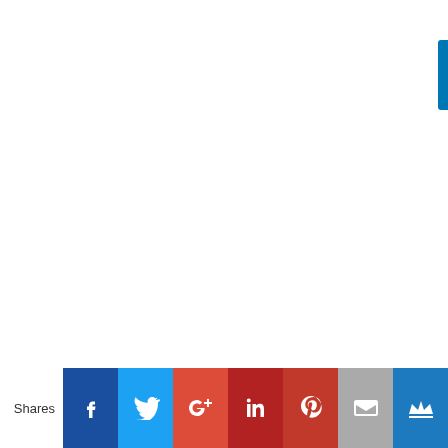[Figure (other): Blue vertical tab/bar on the right edge of the page]
Shares [Facebook] [Twitter] [Google+] [LinkedIn] [Pinterest] [Email] [Kingdoms]